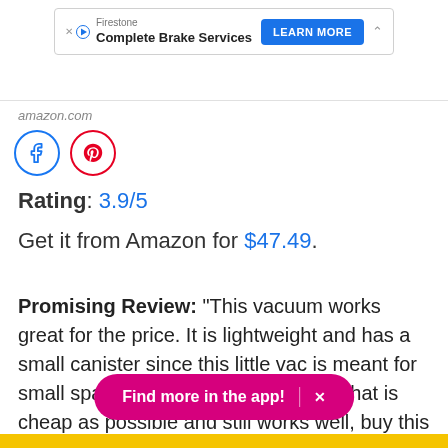[Figure (other): Firestone Complete Brake Services advertisement banner with Learn More button]
amazon.com
[Figure (other): Facebook and Pinterest social sharing icon circles]
Rating: 3.9/5
Get it from Amazon for $47.49.
Promising Review: "This vacuum works great for the price. It is lightweight and has a small canister since this little vac is meant for small spaces. If you want something that is cheap as possible and still works well, buy this vacuum." —Melora Rabbit
[Figure (other): Find more in the app! CTA button with X close icon]